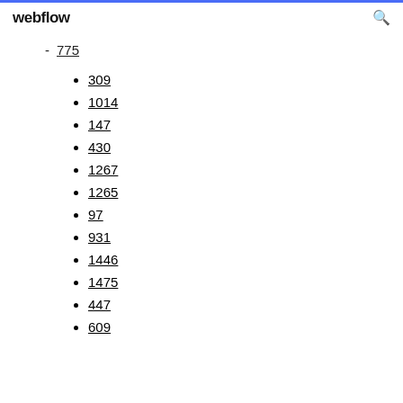webflow
775
309
1014
147
430
1267
1265
97
931
1446
1475
447
609